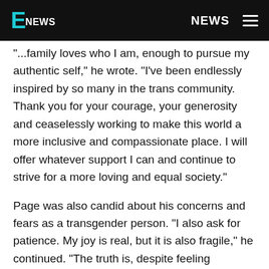E! NEWS | NEWS
"...family loves who I am, enough to pursue my authentic self," he wrote. "I've been endlessly inspired by so many in the trans community. Thank you for your courage, your generosity and ceaselessly working to make this world a more inclusive and compassionate place. I will offer whatever support I can and continue to strive for a more loving and equal society."
Page was also candid about his concerns and fears as a transgender person. "I also ask for patience. My joy is real, but it is also fragile," he continued. "The truth is, despite feeling profoundly happy right now and knowing how much privilege I carry, I am